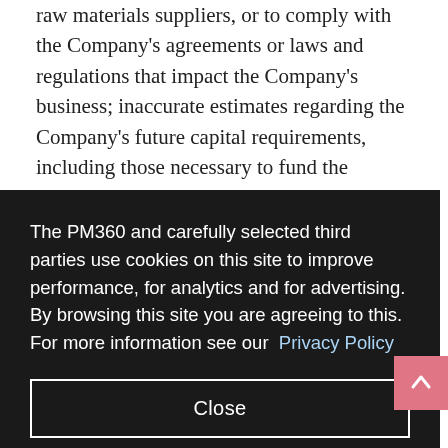raw materials suppliers, or to comply with the Company's agreements or laws and regulations that impact the Company's business; inaccurate estimates regarding the Company's future capital requirements, including those necessary to fund the Company's ongoing clinical development, regulatory and commercialization efforts as well as milestone payments or royalties owed to third parties; failure to develop, or
The PM360 and carefully selected third parties use cookies on this site to improve performance, for analytics and for advertising. By browsing this site you are agreeing to this. For more information see our Privacy Policy
Close
associated with litigation or other proceedings related to